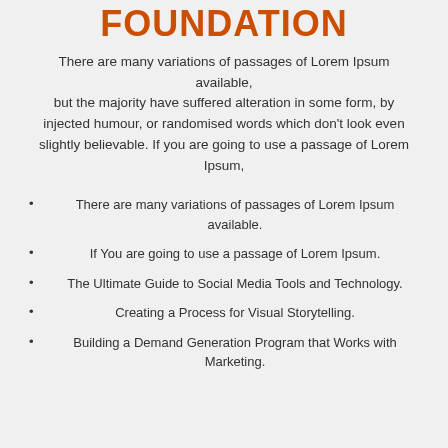FOUNDATION
There are many variations of passages of Lorem Ipsum available, but the majority have suffered alteration in some form, by injected humour, or randomised words which don't look even slightly believable. If you are going to use a passage of Lorem Ipsum,
There are many variations of passages of Lorem Ipsum available.
If You are going to use a passage of Lorem Ipsum.
The Ultimate Guide to Social Media Tools and Technology.
Creating a Process for Visual Storytelling.
Building a Demand Generation Program that Works with Marketing.